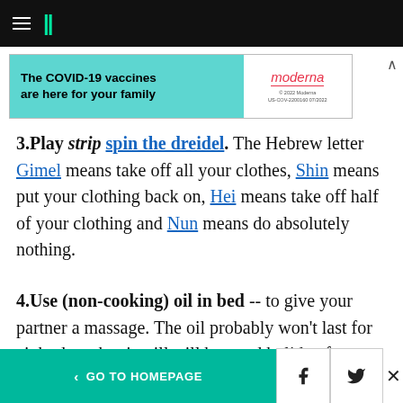HuffPost navigation header with logo
[Figure (other): Moderna COVID-19 vaccine advertisement banner: 'The COVID-19 vaccines are here for your family' on teal background with Moderna logo on white background]
3.Play strip spin the dreidel. The Hebrew letter Gimel means take off all your clothes, Shin means put your clothing back on, Hei means take off half of your clothing and Nun means do absolutely nothing.
4.Use (non-cooking) oil in bed -- to give your partner a massage. The oil probably won't last for eight days, but it will still be good holiday fun.
< GO TO HOMEPAGE | Facebook | Twitter | X